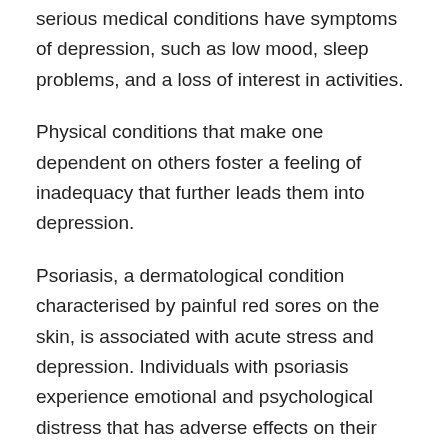serious medical conditions have symptoms of depression, such as low mood, sleep problems, and a loss of interest in activities.
Physical conditions that make one dependent on others foster a feeling of inadequacy that further leads them into depression.
Psoriasis, a dermatological condition characterised by painful red sores on the skin, is associated with acute stress and depression. Individuals with psoriasis experience emotional and psychological distress that has adverse effects on their overall health and quality of life.
The Social Factor